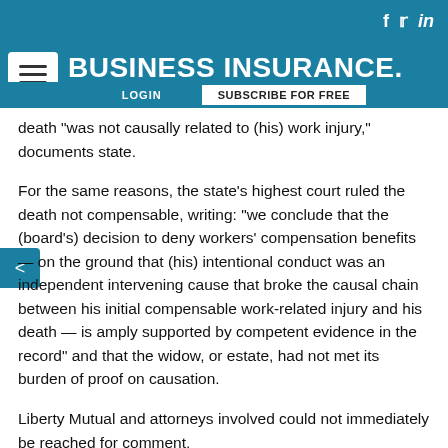BUSINESS INSURANCE
death "was not causally related to (his) work injury," documents state.
For the same reasons, the state's highest court ruled the death not compensable, writing: “we conclude that the (board’s) decision to deny workers' compensation benefits — on the ground that (his) intentional conduct was an independent intervening cause that broke the causal chain between his initial compensable work-related injury and his death — is amply supported by competent evidence in the record” and that the widow, or estate, had not met its burden of proof on causation.
Liberty Mutual and attorneys involved could not immediately be reached for comment.